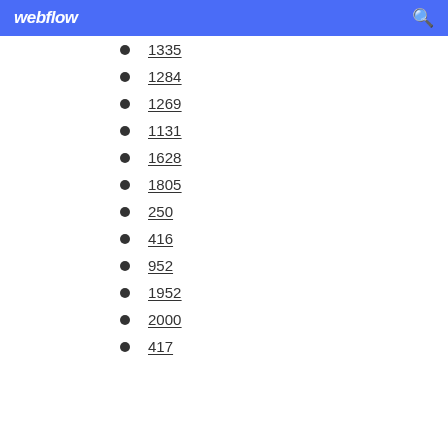webflow
1335
1284
1269
1131
1628
1805
250
416
952
1952
2000
417